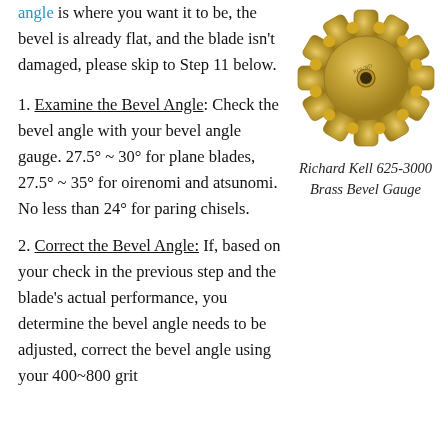angle is where you want it to be, the bevel is already flat, and the blade isn't damaged, please skip to Step 11 below.
[Figure (photo): Richard Kell 625-3000 Brass Bevel Gauge - a gold/brass colored star-shaped gauge with notched edges and a central hole]
Richard Kell 625-3000 Brass Bevel Gauge
1. Examine the Bevel Angle: Check the bevel angle with your bevel angle gauge. 27.5° ~ 30° for plane blades, 27.5° ~ 35° for oirenomi and atsunomi. No less than 24° for paring chisels.
2. Correct the Bevel Angle: If, based on your check in the previous step and the blade's actual performance, you determine the bevel angle needs to be adjusted, correct the bevel angle using your 400~800 grit